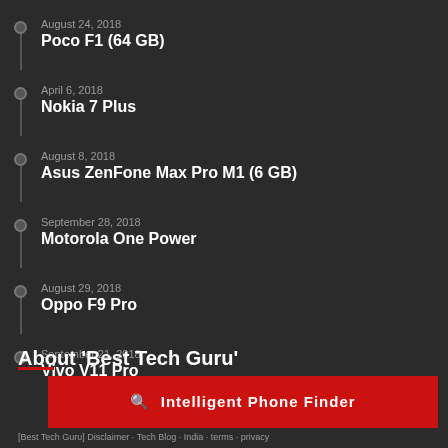August 24, 2018
Poco F1 (64 GB)
April 6, 2018
Nokia 7 Plus
August 8, 2018
Asus ZenFone Max Pro M1 (6 GB)
September 28, 2018
Motorola One Power
August 29, 2018
Oppo F9 Pro
September 21, 2018
Vivo V11 Pro
About 'Best Tech Guru'
Intelligent Phone Finder
[Best Tech Guru] Disclaimer Tech Blog India terms privacy